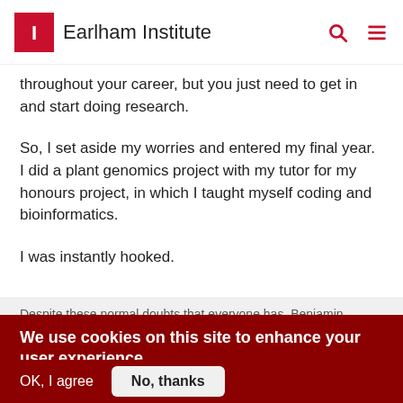Earlham Institute
throughout your career, but you just need to get in and start doing research.
So, I set aside my worries and entered my final year. I did a plant genomics project with my tutor for my honours project, in which I taught myself coding and bioinformatics.
I was instantly hooked.
Despite these normal doubts that everyone has. Benjamin...
We use cookies on this site to enhance your user experience
By clicking the Accept button, you agree to us doing so.
No, give me more info
OK, I agree
No, thanks